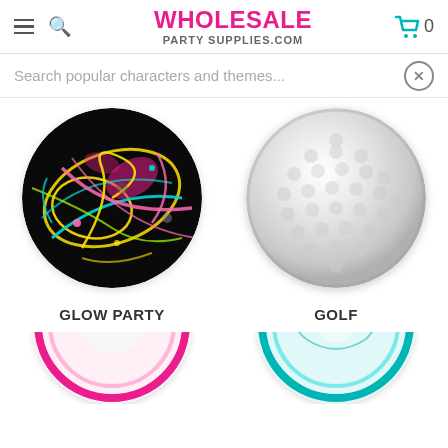WHOLESALE PARTY SUPPLIES.COM
Search popular characters and themes...
[Figure (photo): Circular image of glow party neon swirls and designs on black background]
GLOW PARTY
[Figure (photo): Circular image of a white golf ball showing dimple pattern]
GOLF
[Figure (photo): Partial circular product image at bottom left - pink and white themed]
[Figure (photo): Partial circular product image at bottom right - teal/turquoise themed]